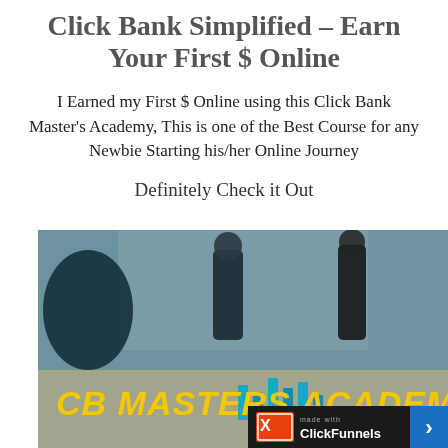Click Bank Simplified - Earn Your First $ Online
I Earned my First $ Online using this Click Bank Master's Academy, This is one of the Best Course for any Newbie Starting his/her Online Journey
Definitely Check it Out
[Figure (photo): Photo showing business professionals in a blurred office background with charts on a table, overlaid with bold yellow italic text 'CB MASTERS ACADEMY' and a ClickFunnels branding bar at the bottom right]